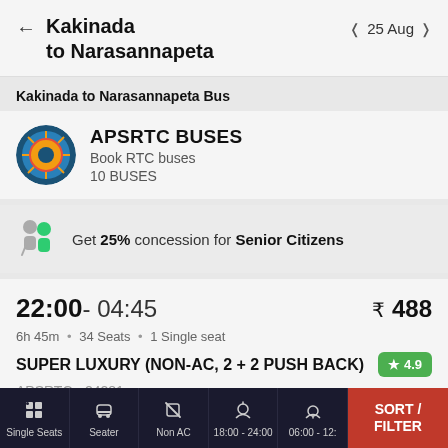Kakinada to Narasannapeta | 25 Aug
Kakinada to Narasannapeta Bus
APSRTC BUSES
Book RTC buses
10 BUSES
Get 25% concession for Senior Citizens
22:00 - 04:45  ₹ 488
6h 45m • 34 Seats • 1 Single seat
SUPER LUXURY (NON-AC, 2 + 2 PUSH BACK)  ★4.9
APSRTC - 24281
Single Seats  Seater  Non AC  18:00 - 24:00  06:00 - 12:  SORT / FILTER